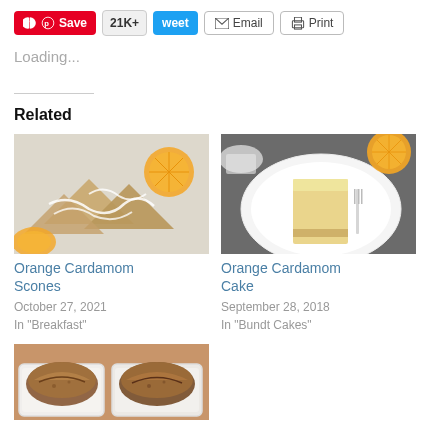Save 21K+ Tweet Email Print
Loading...
Related
[Figure (photo): Orange Cardamom Scones - scones with white glaze drizzle and orange slices on a white surface]
Orange Cardamom Scones
October 27, 2021
In "Breakfast"
[Figure (photo): Orange Cardamom Cake - slice of yellow cake on a white plate with orange slice in background]
Orange Cardamom Cake
September 28, 2018
In "Bundt Cakes"
[Figure (photo): Bread loaves in white baking dishes, golden-brown baked bread]